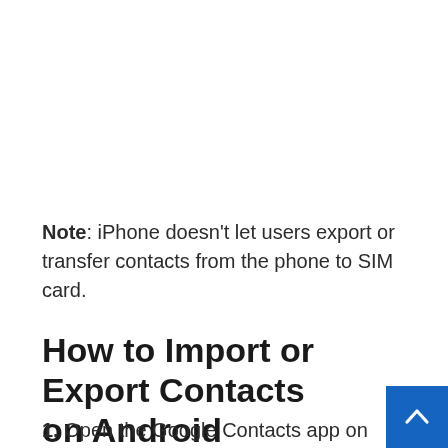Note: iPhone doesn't let users export or transfer contacts from the phone to SIM card.
How to Import or Export Contacts on Android
1. Open the Google Contacts app on your